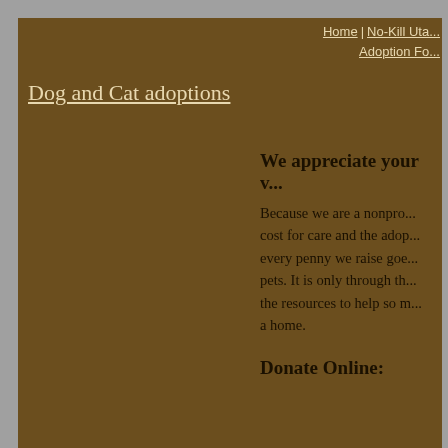Home | No-Kill Uta... | Adoption Fo...
Dog and Cat adoptions
We appreciate your v...
Because we are a nonpro... cost for care and the adop... every penny we raise goe... pets. It is only through th... the resources to help so m... a home.
Donate Online:
(You will be r...
Send a Check:
R...